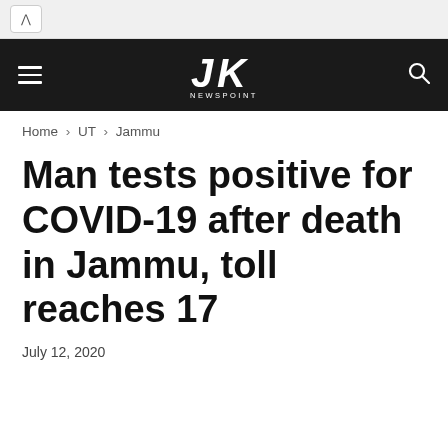JK Newspoint navigation bar with hamburger menu and search icon
Home › UT › Jammu
Man tests positive for COVID-19 after death in Jammu, toll reaches 17
July 12, 2020